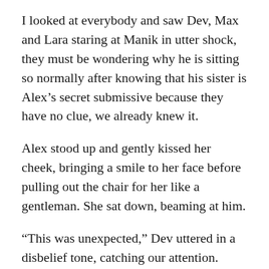I looked at everybody and saw Dev, Max and Lara staring at Manik in utter shock, they must be wondering why he is sitting so normally after knowing that his sister is Alex's secret submissive because they have no clue, we already knew it.
Alex stood up and gently kissed her cheek, bringing a smile to her face before pulling out the chair for her like a gentleman. She sat down, beaming at him.
“This was unexpected,” Dev uttered in a disbelief tone, catching our attention.
“I’m more shocked seeing why Manik didn’t react until yet.” Lara spoke, looking at Manik